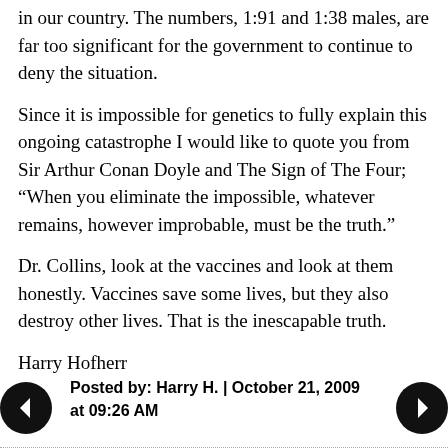in our country. The numbers, 1:91 and 1:38 males, are far too significant for the government to continue to deny the situation.
Since it is impossible for genetics to fully explain this ongoing catastrophe I would like to quote you from Sir Arthur Conan Doyle and The Sign of The Four; “When you eliminate the impossible, whatever remains, however improbable, must be the truth.”
Dr. Collins, look at the vaccines and look at them honestly. Vaccines save some lives, but they also destroy other lives. That is the inescapable truth.
Harry Hofherr
Posted by: Harry H. | October 21, 2009 at 09:26 AM